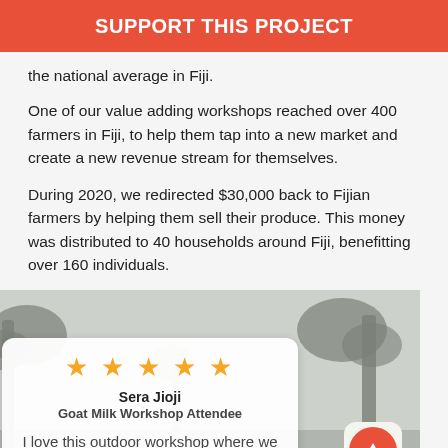SUPPORT THIS PROJECT
the national average in Fiji.
One of our value adding workshops reached over 400 farmers in Fiji, to help them tap into a new market and create a new revenue stream for themselves.
During 2020, we redirected $30,000 back to Fijian farmers by helping them sell their produce. This money was distributed to 40 households around Fiji, benefitting over 160 individuals.
[Figure (photo): Outdoor scene with palm trees and grey sky, with a review card overlay showing 5 stars, reviewer Sera Jioji, Goat Milk Workshop Attendee, and partial review text 'I love this outdoor workshop where we can actually see the goats and also the demo of'. An up-arrow button is visible at bottom right.]